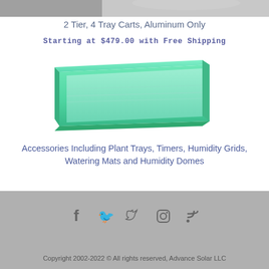[Figure (photo): Top portion of a product photo showing a 2-tier 4-tray aluminum cart]
2 Tier, 4 Tray Carts, Aluminum Only
Starting at $479.00 with Free Shipping
[Figure (photo): Green plastic plant tray viewed from above at an angle, rectangular with ribbed interior]
Accessories Including Plant Trays, Timers, Humidity Grids, Watering Mats and Humidity Domes
Copyright 2002-2022 © All rights reserved, Advance Solar LLC